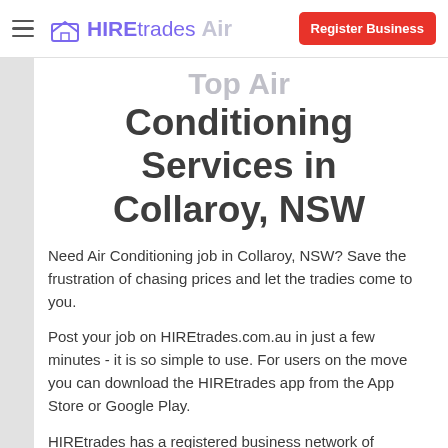HIREtrades — Register Business
Top Air Conditioning Services in Collaroy, NSW
Need Air Conditioning job in Collaroy, NSW? Save the frustration of chasing prices and let the tradies come to you.
Post your job on HIREtrades.com.au in just a few minutes - it is so simple to use. For users on the move you can download the HIREtrades app from the App Store or Google Play.
HIREtrades has a registered business network of professional Air Conditioning services across